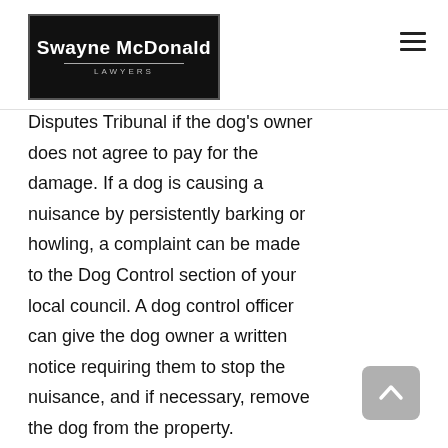Swayne McDonald LAWYERS
Disputes Tribunal if the dog's owner does not agree to pay for the damage. If a dog is causing a nuisance by persistently barking or howling, a complaint can be made to the Dog Control section of your local council. A dog control officer can give the dog owner a written notice requiring them to stop the nuisance, and if necessary, remove the dog from the property.